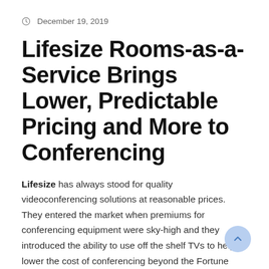December 19, 2019
Lifesize Rooms-as-a-Service Brings Lower, Predictable Pricing and More to Conferencing
Lifesize has always stood for quality videoconferencing solutions at reasonable prices. They entered the market when premiums for conferencing equipment were sky-high and they introduced the ability to use off the shelf TVs to help lower the cost of conferencing beyond the Fortune 1,000.
With the advent of huddle rooms, even the Fortune class companies can save a bundle with Lifesize.